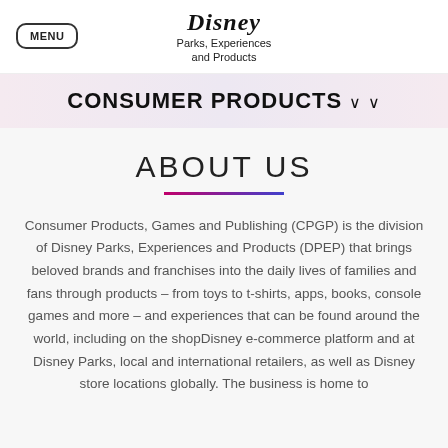MENU | Disney Parks, Experiences and Products
CONSUMER PRODUCTS
ABOUT US
Consumer Products, Games and Publishing (CPGP) is the division of Disney Parks, Experiences and Products (DPEP) that brings beloved brands and franchises into the daily lives of families and fans through products – from toys to t-shirts, apps, books, console games and more – and experiences that can be found around the world, including on the shopDisney e-commerce platform and at Disney Parks, local and international retailers, as well as Disney store locations globally. The business is home to